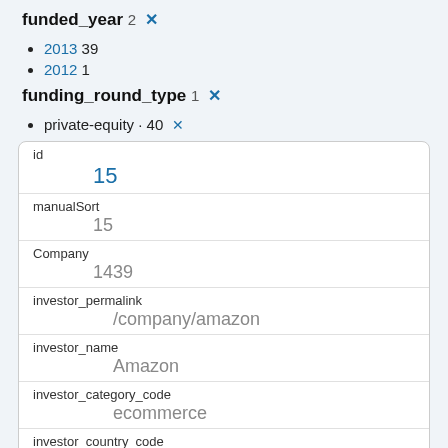funded_year 2 ×
2013 39
2012 1
funding_round_type 1 ×
private-equity · 40 ×
| Field | Value |
| --- | --- |
| id | 15 |
| manualSort | 15 |
| Company | 1439 |
| investor_permalink | /company/amazon |
| investor_name | Amazon |
| investor_category_code | ecommerce |
| investor_country_code |  |